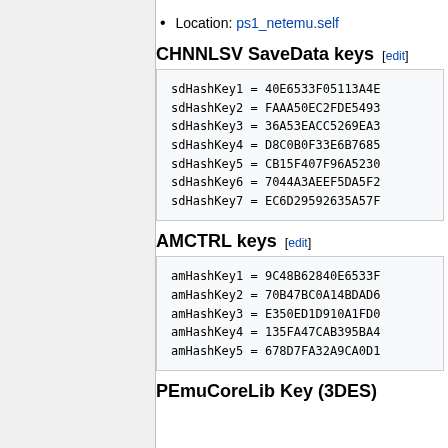Location: ps1_netemu.self
CHNNLSV SaveData keys [edit]
sdHashKey1 = 40E6533F05113A4B
sdHashKey2 = FAAA50EC2FDE5493
sdHashKey3 = 36A53EACC5269EA3
sdHashKey4 = D8C0B0F33E6B7685
sdHashKey5 = CB15F407F96A5230
sdHashKey6 = 7044A3AEEF5DA5F2
sdHashKey7 = EC6D29592635A57F
AMCTRL keys [edit]
amHashKey1 = 9C48B62840E6533F
amHashKey2 = 70B47BC0A14BDAD6
amHashKey3 = E350ED1D910A1FD0
amHashKey4 = 135FA47CAB395BA4
amHashKey5 = 678D7FA32A9CA0D1
PEmuCoreLib Key (3DES)